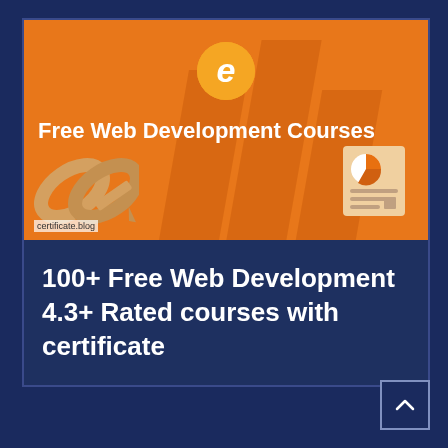[Figure (illustration): Orange banner for Udemy-like e-learning site with logo circle containing stylized 'e', chain link icon on left, report/document icon on right, and text 'Free Web Development Courses'. Watermark reads 'certificate.blog'.]
100+ Free Web Development 4.3+ Rated courses with certificate